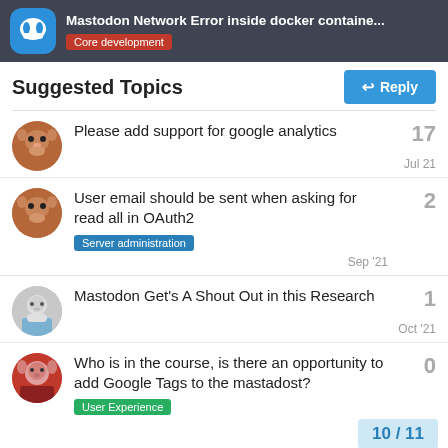Mastodon Network Error inside docker containe... | Core development
Suggested Topics
Please add support for google analytics | 17 | Jul 21
User email should be sent when asking for read all in OAuth2 | Server administration | 2 | Sep '21
Mastodon Get's A Shout Out in this Research | 1 | Oct '21
Who is in the course, is there an opportunity to add Google Tags to the mastadost? | User Experience | 0 | 10 / 11